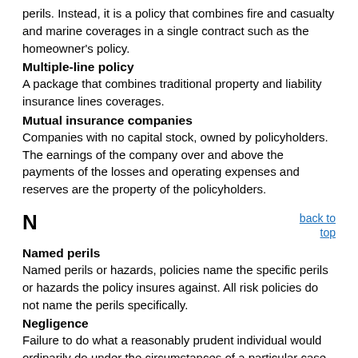perils. Instead, it is a policy that combines fire and casualty and marine coverages in a single contract such as the homeowner's policy.
Multiple-line policy
A package that combines traditional property and liability insurance lines coverages.
Mutual insurance companies
Companies with no capital stock, owned by policyholders. The earnings of the company over and above the payments of the losses and operating expenses and reserves are the property of the policyholders.
N
back to top
Named perils
Named perils or hazards, policies name the specific perils or hazards the policy insures against. All risk policies do not name the perils specifically.
Negligence
Failure to do what a reasonably prudent individual would ordinarily do under the circumstances of a particular case, or doing what a prudent person would not have done. Negligence may be caused by acts of omission, commission or both.